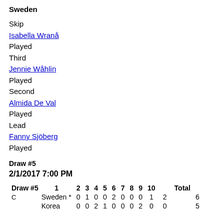Sweden
Skip
Isabella Wranå
Played
Third
Jennie Wåhlin
Played
Second
Almida De Val
Played
Lead
Fanny Sjöberg
Played
Draw #5
2/1/2017 7:00 PM
| Draw #5 | 1 | 2 | 3 | 4 | 5 | 6 | 7 | 8 | 9 | 10 |  | Total |
| --- | --- | --- | --- | --- | --- | --- | --- | --- | --- | --- | --- | --- |
| C | Sweden * | 0 | 1 | 0 | 0 | 2 | 0 | 0 | 0 | 1 | 2 |  | 6 |
|  | Korea | 0 | 0 | 2 | 1 | 0 | 0 | 0 | 2 | 0 | 0 |  | 5 |